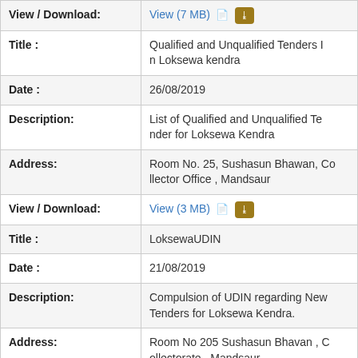| Field | Value |
| --- | --- |
| View / Download: | View (7 MB) |
| Title : | Qualified and Unqualified Tenders In Loksewa kendra |
| Date : | 26/08/2019 |
| Description: | List of Qualified and Unqualified Tender for Loksewa Kendra |
| Address: | Room No. 25, Sushasun Bhawan, Collector Office , Mandsaur |
| View / Download: | View (3 MB) |
| Title : | LoksewaUDIN |
| Date : | 21/08/2019 |
| Description: | Compulsion of UDIN regarding New Tenders for Loksewa Kendra. |
| Address: | Room No 205 Sushasun Bhavan , Collectorate , Mandsaur |